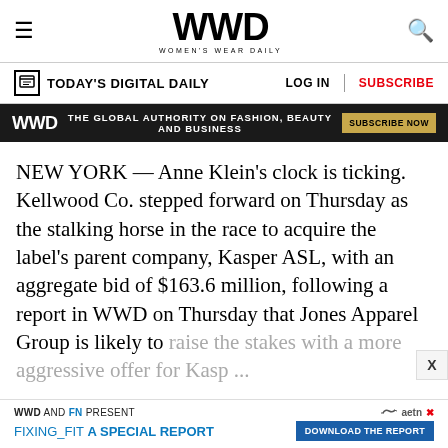WWD WOMEN'S WEAR DAILY
TODAY'S DIGITAL DAILY   LOG IN   SUBSCRIBE
THE GLOBAL AUTHORITY ON FASHION, BEAUTY AND BUSINESS   SUBSCRIBE NOW
NEW YORK — Anne Klein's clock is ticking. Kellwood Co. stepped forward on Thursday as the stalking horse in the race to acquire the label's parent company, Kasper ASL, with an aggregate bid of $163.6 million, following a report in WWD on Thursday that Jones Apparel Group is likely to raise the stakes with a more aggressive offer for Kasp ...
WWD AND FN PRESENT FIXING_FIT A SPECIAL REPORT DOWNLOAD THE REPORT